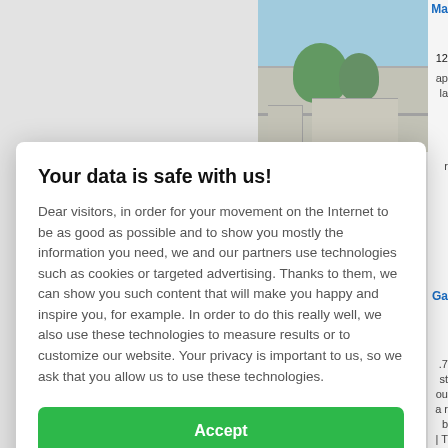[Figure (screenshot): Background webpage showing a building/landmark photo and article text, partially visible behind a cookie consent modal dialog.]
Your data is safe with us!
Dear visitors, in order for your movement on the Internet to be as good as possible and to show you mostly the information you need, we and our partners use technologies such as cookies or targeted advertising. Thanks to them, we can show you such content that will make you happy and inspire you, for example. In order to do this really well, we also use these technologies to measure results or to customize our website. Your privacy is important to us, so we ask that you allow us to use these technologies.
Accept
Deny
Set